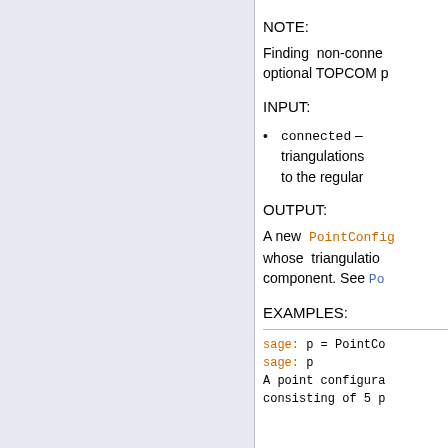NOTE:
Finding non-connected... optional TOPCOM p...
INPUT:
connected – triangulations ... to the regular...
OUTPUT:
A new PointConfig whose triangulations... component. See Po...
EXAMPLES:
sage: p = PointCo
sage: p
A point configura
consisting of 5 p...